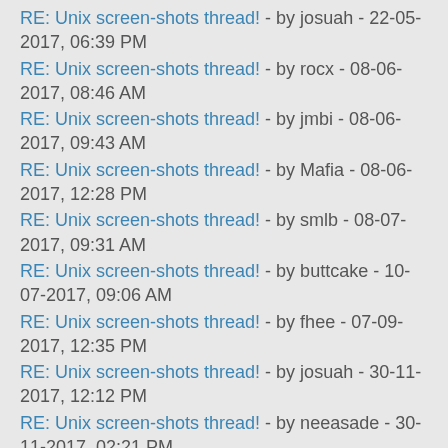RE: Unix screen-shots thread! - by josuah - 22-05-2017, 06:39 PM
RE: Unix screen-shots thread! - by rocx - 08-06-2017, 08:46 AM
RE: Unix screen-shots thread! - by jmbi - 08-06-2017, 09:43 AM
RE: Unix screen-shots thread! - by Mafia - 08-06-2017, 12:28 PM
RE: Unix screen-shots thread! - by smlb - 08-07-2017, 09:31 AM
RE: Unix screen-shots thread! - by buttcake - 10-07-2017, 09:06 AM
RE: Unix screen-shots thread! - by fhee - 07-09-2017, 12:35 PM
RE: Unix screen-shots thread! - by josuah - 30-11-2017, 12:12 PM
RE: Unix screen-shots thread! - by neeasade - 30-11-2017, 02:21 PM
RE: Unix screen-shots thread! - by josuah - 04-12-2017, 07:21 AM
RE: Unix screen-shots thread! - by xero - 04-12-2017, 06:47 PM
RE: Unix screen-shots thread! - by ... - 01-05-2018, 03:52 ...